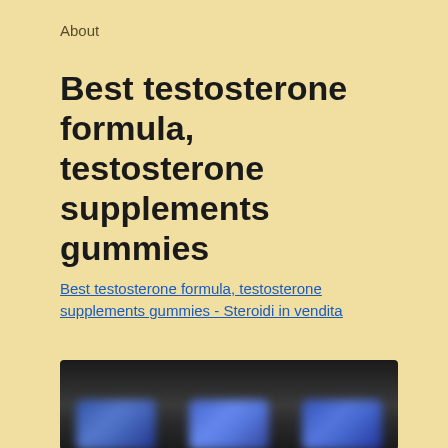About
Best testosterone formula, testosterone supplements gummies
Best testosterone formula, testosterone supplements gummies - Steroidi in vendita
[Figure (photo): Blurred dark image showing what appears to be supplement product bottles at the bottom]